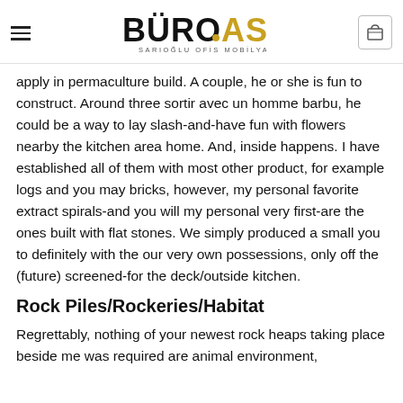BÜRO.AS — SARIOĞLU OFİS MOBİLYALARI
apply in permaculture build. A couple, he or she is fun to construct. Around three sortir avec un homme barbu, he could be a way to lay slash-and-have fun with flowers nearby the kitchen area home. And, inside happens. I have established all of them with most other product, for example logs and you may bricks, however, my personal favorite extract spirals-and you will my personal very first-are the ones built with flat stones. We simply produced a small you to definitely with the our very own possessions, only off the (future) screened-for the deck/outside kitchen.
Rock Piles/Rockeries/Habitat
Regrettably, nothing of your newest rock heaps taking place beside me was required are animal environment,